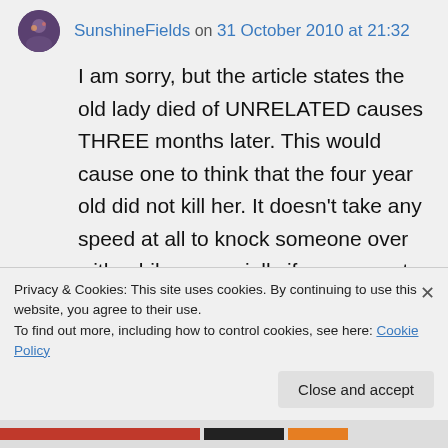SunshineFields on 31 October 2010 at 21:32
I am sorry, but the article states the old lady died of UNRELATED causes THREE months later. This would cause one to think that the four year old did not kill her. It doesn't take any speed at all to knock someone over with a bike, especially if you are not paying attention, hell, I have been knocked over by a bike laying on the ground.
Privacy & Cookies: This site uses cookies. By continuing to use this website, you agree to their use.
To find out more, including how to control cookies, see here: Cookie Policy
Close and accept